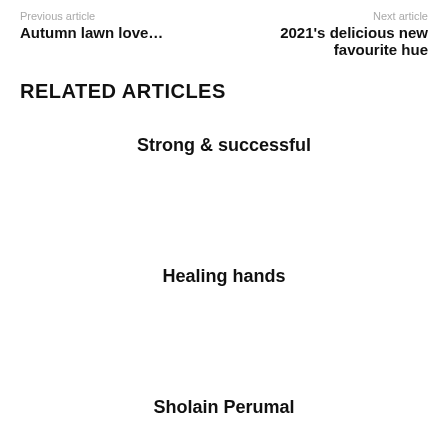Previous article
Autumn lawn love...
Next article
2021's delicious new favourite hue
RELATED ARTICLES
Strong & successful
Healing hands
Sholain Perumal